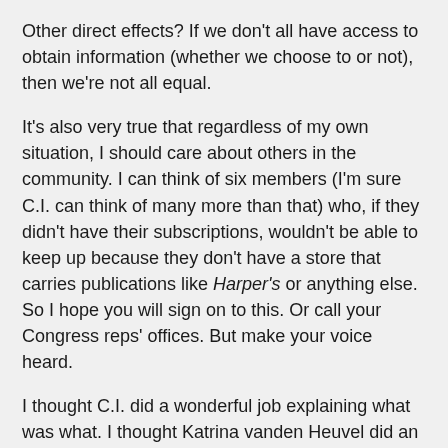Other direct effects? If we don't all have access to obtain information (whether we choose to or not), then we're not all equal.
It's also very true that regardless of my own situation, I should care about others in the community. I can think of six members (I'm sure C.I. can think of many more than that) who, if they didn't have their subscriptions, wouldn't be able to keep up because they don't have a store that carries publications like Harper's or anything else. So I hope you will sign on to this. Or call your Congress reps' offices. But make your voice heard.
I thought C.I. did a wonderful job explaining what was what. I thought Katrina vanden Heuvel did an awful job on Democracy Now! covering the issues. I think it's really sad when you can't mention Ms. magazine but you've got time to name check The National Review. But some women run from being associated with their gender.
Kat [Kat's Korner (of The Common Ills)] will be addressing